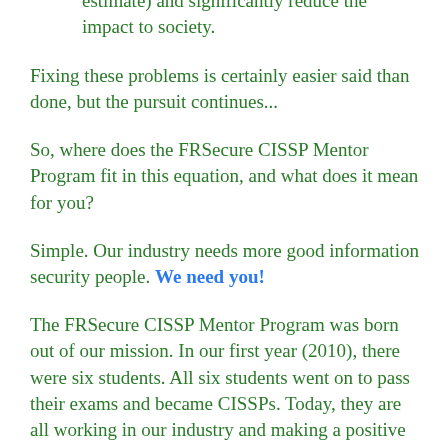as much as ~80-90% (my conservative estimate) and significantly reduce the impact to society.
Fixing these problems is certainly easier said than done, but the pursuit continues...
So, where does the FRSecure CISSP Mentor Program fit in this equation, and what does it mean for you?
Simple. Our industry needs more good information security people. We need you!
The FRSecure CISSP Mentor Program was born out of our mission. In our first year (2010), there were six students. All six students went on to pass their exams and became CISSPs. Today, they are all working in our industry and making a positive difference in the lives of others. Last year was the 11th consecutive year for the program, and we had more than 2,400 registrations. It's been an incredible experience for us,